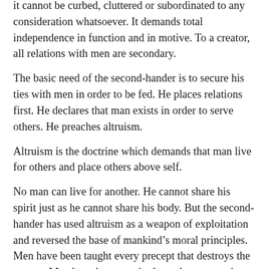it cannot be curbed, cluttered or subordinated to any consideration whatsoever. It demands total independence in function and in motive. To a creator, all relations with men are secondary.
The basic need of the second-hander is to secure his ties with men in order to be fed. He places relations first. He declares that man exists in order to serve others. He preaches altruism.
Altruism is the doctrine which demands that man live for others and place others above self.
No man can live for another. He cannot share his spirit just as he cannot share his body. But the second-hander has used altruism as a weapon of exploitation and reversed the base of mankind’s moral principles. Men have been taught every precept that destroys the creator. Men have been taught dependence as a virtue.
The man who attempts to live for others is a dependent. He is a parasite in motive and makes parasites of those he serves. The relationship produces nothing but mutual